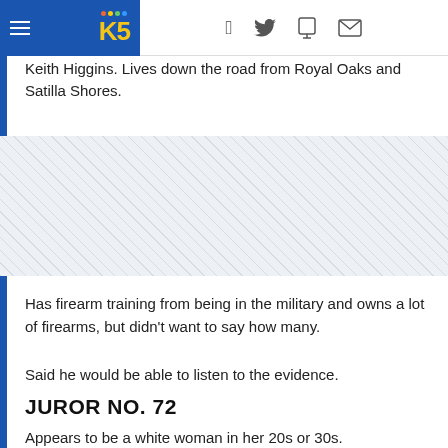KING 5 News navigation bar with logo and social icons
Keith Higgins. Lives down the road from Royal Oaks and Satilla Shores.
[Figure (other): Advertisement placeholder area with diagonal hatching pattern]
Has firearm training from being in the military and owns a lot of firearms, but didn't want to say how many.
Said he would be able to listen to the evidence.
JUROR NO. 72
Appears to be a white woman in her 20s or 30s.